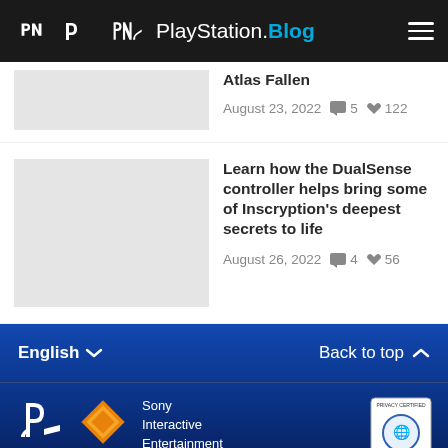PlayStation.Blog
Atlas Fallen
August 23, 2022  5  122
Learn how the DualSense controller helps bring some of Inscryption's deepest secrets to life
August 26, 2022  4  56
English  Back to top
Sony Interactive Entertainment